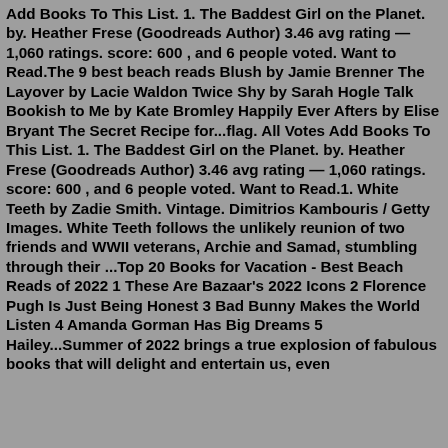Add Books To This List. 1. The Baddest Girl on the Planet. by. Heather Frese (Goodreads Author) 3.46 avg rating — 1,060 ratings. score: 600 , and 6 people voted. Want to Read.The 9 best beach reads Blush by Jamie Brenner The Layover by Lacie Waldon Twice Shy by Sarah Hogle Talk Bookish to Me by Kate Bromley Happily Ever Afters by Elise Bryant The Secret Recipe for...flag. All Votes Add Books To This List. 1. The Baddest Girl on the Planet. by. Heather Frese (Goodreads Author) 3.46 avg rating — 1,060 ratings. score: 600 , and 6 people voted. Want to Read.1. White Teeth by Zadie Smith. Vintage. Dimitrios Kambouris / Getty Images. White Teeth follows the unlikely reunion of two friends and WWII veterans, Archie and Samad, stumbling through their ...Top 20 Books for Vacation - Best Beach Reads of 2022 1 These Are Bazaar's 2022 Icons 2 Florence Pugh Is Just Being Honest 3 Bad Bunny Makes the World Listen 4 Amanda Gorman Has Big Dreams 5 Hailey...Summer of 2022 brings a true explosion of fabulous books that will delight and entertain us, even